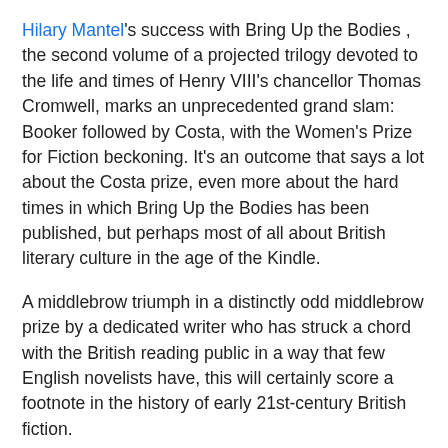Hilary Mantel's success with Bring Up the Bodies , the second volume of a projected trilogy devoted to the life and times of Henry VIII's chancellor Thomas Cromwell, marks an unprecedented grand slam: Booker followed by Costa, with the Women's Prize for Fiction beckoning. It's an outcome that says a lot about the Costa prize, even more about the hard times in which Bring Up the Bodies has been published, but perhaps most of all about British literary culture in the age of the Kindle.
A middlebrow triumph in a distinctly odd middlebrow prize by a dedicated writer who has struck a chord with the British reading public in a way that few English novelists have, this will certainly score a footnote in the history of early 21st-century British fiction.
Mantel's only serious competition came from the immensely gifted Scots poet Kathleen Jamie's exciting collection, The Overhaul – a lovely, lyrical celebration of Scottishness and the Scots tongue. The judges would indeed have been bold to make that their final choice. Costa juries, traditionally, tend